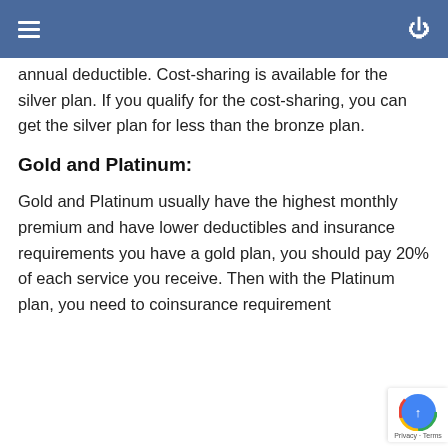annual deductible. Cost-sharing is available for the silver plan. If you qualify for the cost-sharing, you can get the silver plan for less than the bronze plan.
Gold and Platinum:
Gold and Platinum usually have the highest monthly premium and have lower deductibles and insurance requirements you have a gold plan, you should pay 20% of each service you receive. Then with the Platinum plan, you need to coinsurance requirement